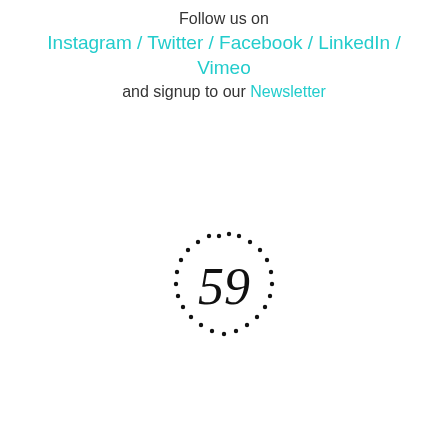Follow us on
Instagram / Twitter / Facebook / LinkedIn /
Vimeo
and signup to our Newsletter
[Figure (logo): Circular dot border logo with number 59 in serif font in the center]